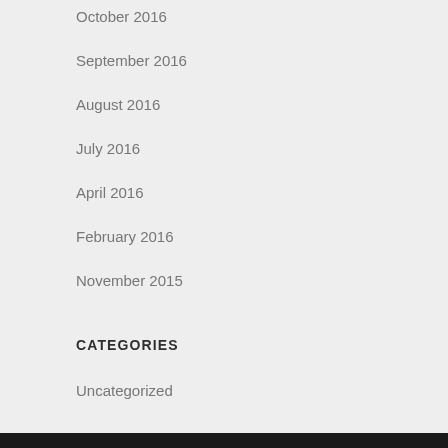October 2016
September 2016
August 2016
July 2016
April 2016
February 2016
November 2015
CATEGORIES
Uncategorized